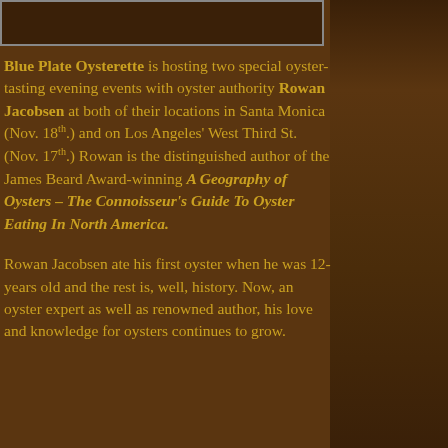[Figure (photo): Partial photo strip at top of page showing a person, cropped]
Blue Plate Oysterette is hosting two special oyster-tasting evening events with oyster authority Rowan Jacobsen at both of their locations in Santa Monica (Nov. 18th.) and on Los Angeles' West Third St. (Nov. 17th.) Rowan is the distinguished author of the James Beard Award-winning A Geography of Oysters – The Connoisseur's Guide To Oyster Eating In North America.
Rowan Jacobsen ate his first oyster when he was 12-years old and the rest is, well, history. Now, an oyster expert as well as renowned author, his love and knowledge for oysters continues to grow.